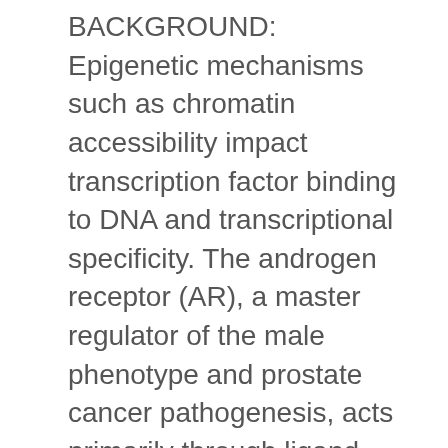BACKGROUND: Epigenetic mechanisms such as chromatin accessibility impact transcription factor binding to DNA and transcriptional specificity. The androgen receptor (AR), a master regulator of the male phenotype and prostate cancer pathogenesis, acts primarily through ligand-activated transcription of target genes. Although several determinants of AR transcriptional specificity have been elucidated, our understanding of the interplay between chromatin accessibility and AR function remains incomplete. RESULTS: We used deep sequencing to assess chromatin structure via DNase I hypersensitivity and mRNA abundance, and paired these datasets with three independent AR ChIP-seq datasets. Our analysis